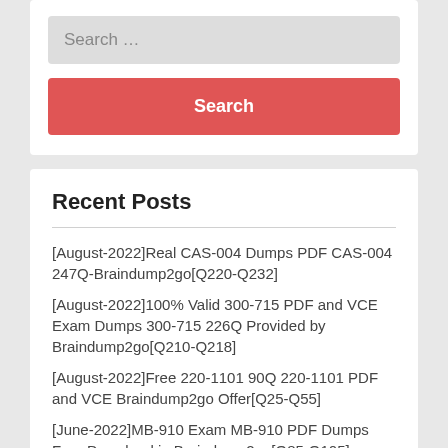[Figure (screenshot): Search input field with placeholder text 'Search ...' and a red Search button below it]
Recent Posts
[August-2022]Real CAS-004 Dumps PDF CAS-004 247Q-Braindump2go[Q220-Q232]
[August-2022]100% Valid 300-715 PDF and VCE Exam Dumps 300-715 226Q Provided by Braindump2go[Q210-Q218]
[August-2022]Free 220-1101 90Q 220-1101 PDF and VCE Braindump2go Offer[Q25-Q55]
[June-2022]MB-910 Exam MB-910 PDF Dumps Free Download in Braindump2go[Q85-Q105]